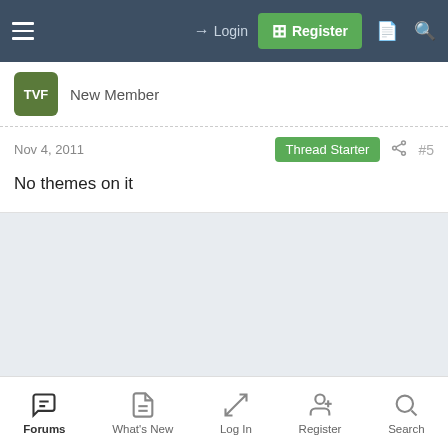Login | Register
New Member
Nov 4, 2011  Thread Starter  #5
No themes on it
Forums | What's New | Log In | Register | Search